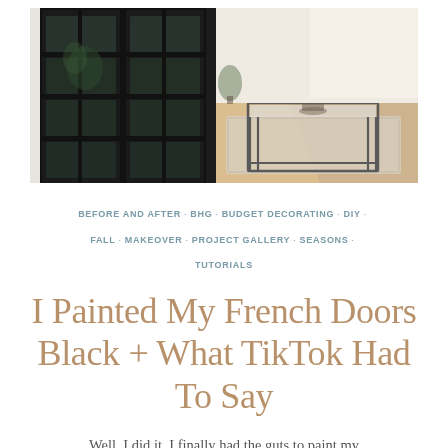[Figure (photo): Split image: left side shows black French doors with glass panes and a plant visible behind them; right side shows a bright living room interior with a rectangular metal-framed coffee table on a patterned rug with sunlight on wooden floors.]
BEFORE AND AFTER · BHG · BUDGET DECORATING · DIY · FALL · MAKEOVER · PROJECT GALLERY · SEASONS · TUTORIALS
I Painted My French Doors Black + What TikTok Had To Say
Well, I did it. I finally had the guts to paint my beautiful white French doors black. Sometimes